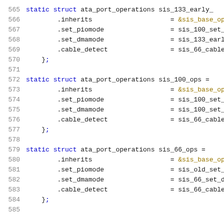565  static struct ata_port_operations sis_133_early_ops = {
566      .inherits                    = &sis_base_ops
567      .set_piomode                 = sis_100_set_piomode
568      .set_dmamode                 = sis_133_early_set_dmamode
569      .cable_detect                = sis_66_cable_detect
570  };
571
572  static struct ata_port_operations sis_100_ops =
573      .inherits                    = &sis_base_ops
574      .set_piomode                 = sis_100_set_piomode
575      .set_dmamode                 = sis_100_set_dmamode
576      .cable_detect                = sis_66_cable_detect
577  };
578
579  static struct ata_port_operations sis_66_ops =
580      .inherits                    = &sis_base_ops
581      .set_piomode                 = sis_old_set_piomode
582      .set_dmamode                 = sis_66_set_dmamode
583      .cable_detect                = sis_66_cable_detect
584  };
585